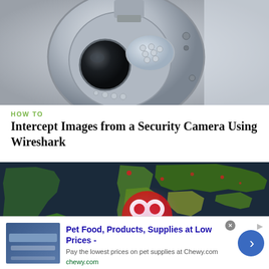[Figure (photo): Close-up photo of a security camera, dome-shaped with grey/silver metallic casing, infrared LEDs visible, mounted on a surface]
HOW TO
Intercept Images from a Security Camera Using Wireshark
[Figure (map): World map showing geographic data with a red circular logo/icon overlaid on the Atlantic Ocean region]
[Figure (screenshot): Advertisement banner: Pet Food, Products, Supplies at Low Prices - Pay the lowest prices on pet supplies at Chewy.com. chewy.com]